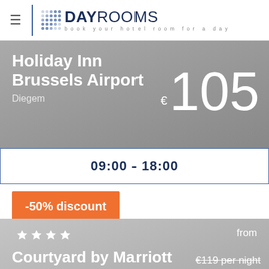DayRooms — book your hotel room for a day
Holiday Inn Brussels Airport
Diegem
€ 105
09:00 - 18:00
-50% discount
★★★★
from
Courtyard by Marriott